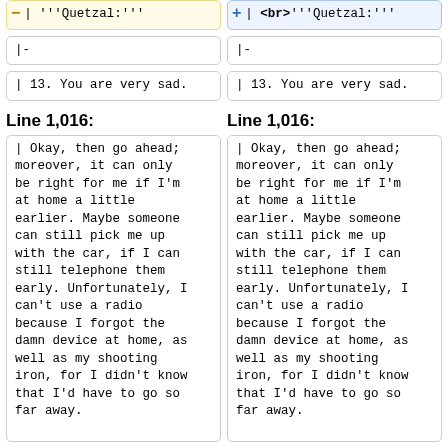| '''Quetzal:'''  (left, removed)
+ | <br>'''Quetzal:''' (right, added)
|-  (left)
|-  (right)
| 13. You are very sad.  (left)
| 13. You are very sad.  (right)
Line 1,016:
Line 1,016:
| Okay, then go ahead; moreover, it can only be right for me if I'm at home a little earlier. Maybe someone can still pick me up with the car, if I can still telephone them early. Unfortunately, I can't use a radio because I forgot the damn device at home, as well as my shooting iron, for I didn't know that I'd have to go so far away.
| Okay, then go ahead; moreover, it can only be right for me if I'm at home a little earlier. Maybe someone can still pick me up with the car, if I can still telephone them early. Unfortunately, I can't use a radio because I forgot the damn device at home, as well as my shooting iron, for I didn't know that I'd have to go so far away.